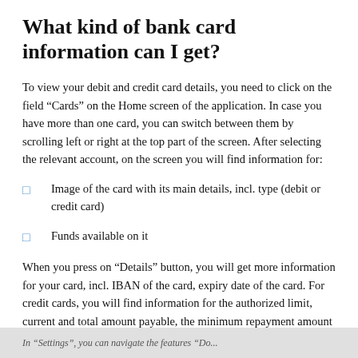What kind of bank card information can I get?
To view your debit and credit card details, you need to click on the field “Cards” on the Home screen of the application. In case you have more than one card, you can switch between them by scrolling left or right at the top part of the screen. After selecting the relevant account, on the screen you will find information for:
Image of the card with its main details, incl. type (debit or credit card)
Funds available on it
When you press on “Details” button, you will get more information for your card, incl. IBAN of the card, expiry date of the card. For credit cards, you will find information for the authorized limit, current and total amount payable, the minimum repayment amount and the final date for repayment.
In “Settings”, you can navigate the features “Do...